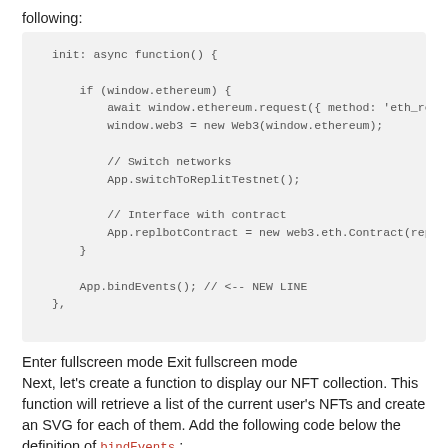following:
Enter fullscreen mode Exit fullscreen mode
Next, let's create a function to display our NFT collection. This function will retrieve a list of the current user's NFTs and create an SVG for each of them. Add the following code below the definition of bindEvents :